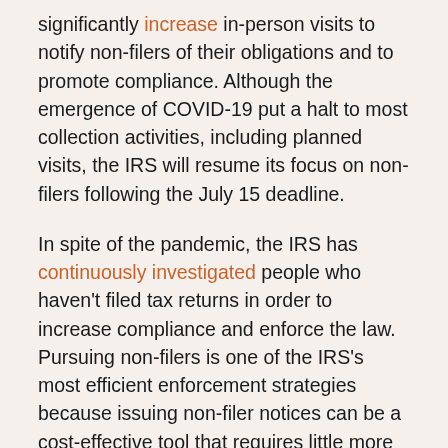significantly increase in-person visits to notify non-filers of their obligations and to promote compliance. Although the emergence of COVID-19 put a halt to most collection activities, including planned visits, the IRS will resume its focus on non-filers following the July 15 deadline.
In spite of the pandemic, the IRS has continuously investigated people who haven't filed tax returns in order to increase compliance and enforce the law. Pursuing non-filers is one of the IRS's most efficient enforcement strategies because issuing non-filer notices can be a cost-effective tool that requires little more than automated notices. For that reason, I don't advise waiting until the tax deadline hits in July, because that's when the IRS collection activities will surge.
So how does the IRS go about finding non-filers?